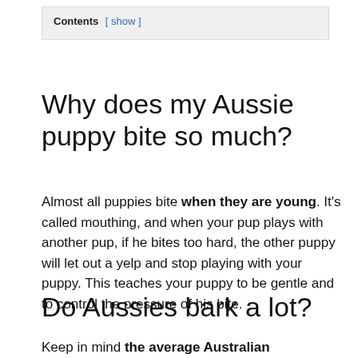| Contents [ show ] |
Why does my Aussie puppy bite so much?
Almost all puppies bite when they are young. It's called mouthing, and when your pup plays with another pup, if he bites too hard, the other puppy will let out a yelp and stop playing with your puppy. This teaches your puppy to be gentle and to control the pressure of his bite.
Do Aussies bark a lot?
Keep in mind the average Australian